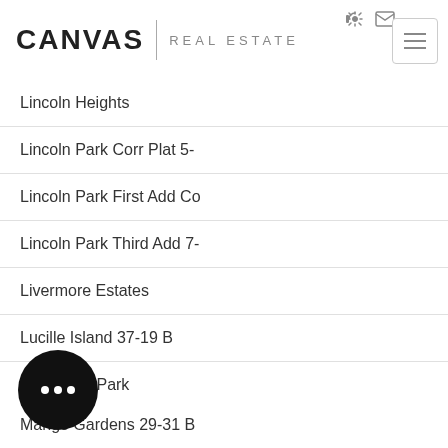CANVAS REAL ESTATE
Lincoln Heights
Lincoln Park Corr Plat 5-
Lincoln Park First Add Co
Lincoln Park Third Add 7-
Livermore Estates
Lucille Island 37-19 B
Macarthur Park
Mango Gardens 29-31 B